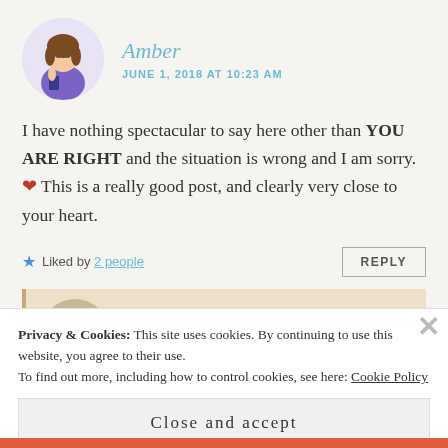[Figure (illustration): Avatar of a cartoon woman with brown hair in purple dress holding a book, on a light lavender circle background]
Amber
JUNE 1, 2018 AT 10:23 AM
I have nothing spectacular to say here other than YOU ARE RIGHT and the situation is wrong and I am sorry. ❤ This is a really good post, and clearly very close to your heart.
Liked by 2 people
REPLY
[Figure (illustration): Avatar of a person with colorful books in background on a tan/beige circle]
thebookprophet
Privacy & Cookies: This site uses cookies. By continuing to use this website, you agree to their use. To find out more, including how to control cookies, see here: Cookie Policy
Close and accept